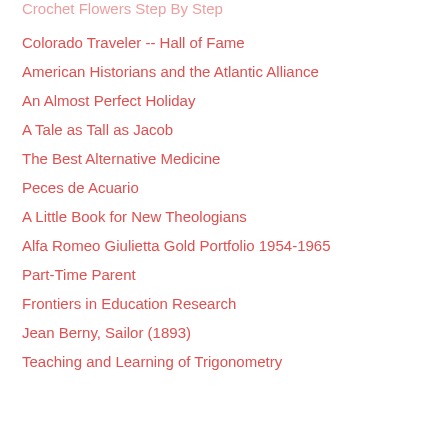Crochet Flowers Step By Step
Colorado Traveler -- Hall of Fame
American Historians and the Atlantic Alliance
An Almost Perfect Holiday
A Tale as Tall as Jacob
The Best Alternative Medicine
Peces de Acuario
A Little Book for New Theologians
Alfa Romeo Giulietta Gold Portfolio 1954-1965
Part-Time Parent
Frontiers in Education Research
Jean Berny, Sailor (1893)
Teaching and Learning of Trigonometry